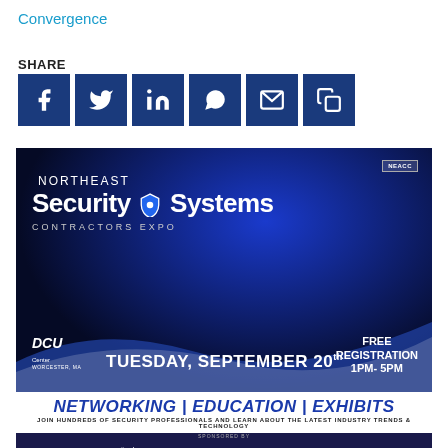Convergence
SHARE
[Figure (infographic): Social sharing icons: Facebook, Twitter, LinkedIn, WhatsApp, Email, Copy — each as a dark blue square button with white icon]
[Figure (infographic): Northeast Security Systems Contractors Expo advertisement. NEACC badge top right. Text: NORTHEAST / Security Systems / CONTRACTORS EXPO / DCU Center Worcester MA / TUESDAY, SEPTEMBER 20th / FREE REGISTRATION / 1PM-5PM. Blue wave design with building in background.]
NETWORKING | EDUCATION | EXHIBITS
JOIN HUNDREDS OF SECURITY PROFESSIONALS AND LEARN ABOUT THE LATEST INDUSTRY TRENDS & TECHNOLOGY
[Figure (infographic): Sponsors bar: SPONSORED BY / nmc national monitoring center / urmet / avanguard / DELTA / milestone / zentec / CEPro logos on dark blue background. Below: NEACC FALL CLASSIC GOLF OUTING / WEDNESDAY, SEPTEMBER 21 / WooSox logo / NETWORKING LOOP AFTER THE EXPO]